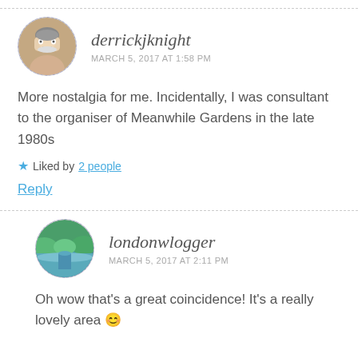derrickjknight
MARCH 5, 2017 AT 1:58 PM
More nostalgia for me. Incidentally, I was consultant to the organiser of Meanwhile Gardens in the late 1980s
Liked by 2 people
Reply
londonwlogger
MARCH 5, 2017 AT 2:11 PM
Oh wow that's a great coincidence! It's a really lovely area 😊